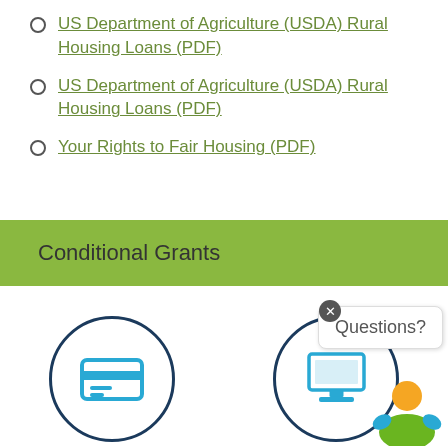US Department of Agriculture (USDA) Rural Housing Loans (PDF)
US Department of Agriculture (USDA) Rural Housing Loans (PDF)
Your Rights to Fair Housing (PDF)
Conditional Grants
[Figure (illustration): Circle icon with a credit card / payment terminal icon inside, labeled Online Bill Pay]
Online Bill Pay
[Figure (illustration): Circle icon with a laptop/computer icon inside, labeled Register Now, with a chat bubble showing 'Questions?' and a colorful avatar]
Register Now